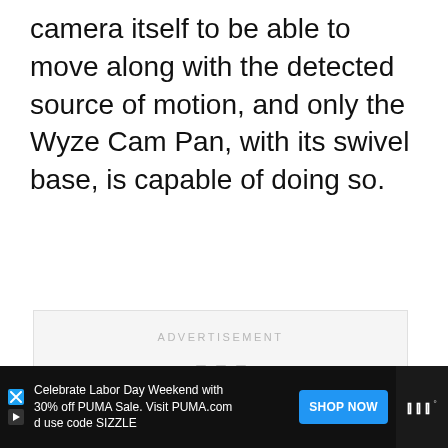camera itself to be able to move along with the detected source of motion, and only the Wyze Cam Pan, with its swivel base, is capable of doing so.
[Figure (other): Advertisement placeholder box with 'ADVERTISEMENT' label and three small gray squares]
[Figure (other): Floating action buttons: heart (like) button in blue circle, count '1', and share button in white circle]
[Figure (other): Bottom advertisement bar: PUMA Labor Day sale ad with 'SHOP NOW' button and media logo, on black background]